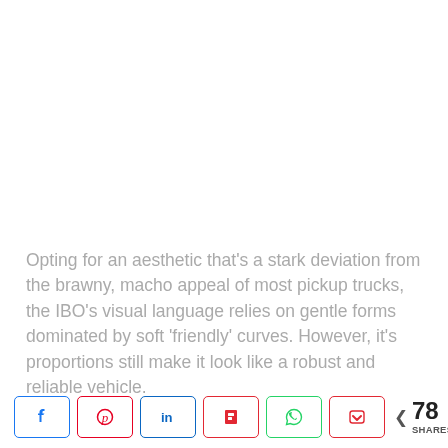Opting for an aesthetic that's a stark deviation from the brawny, macho appeal of most pickup trucks, the IBO's visual language relies on gentle forms dominated by soft 'friendly' curves. However, it's proportions still make it look like a robust and reliable vehicle.
[Figure (other): Social share buttons row: Facebook, Pinterest, LinkedIn, Flipboard, WhatsApp, Pocket icons, followed by share count showing 78 SHARES]